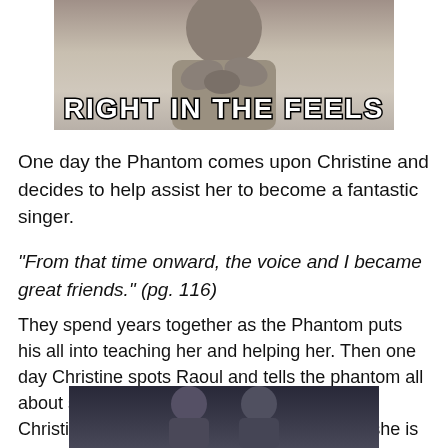[Figure (photo): Top portion of a meme image showing a person clutching their chest, with bold white outlined text 'RIGHT IN THE FEELS' overlaid]
One day the Phantom comes upon Christine and decides to help assist her to become a fantastic singer.
“From that time onward, the voice and I became great friends.” (pg. 116)
They spend years together as the Phantom puts his all into teaching her and helping her. Then one day Christine spots Raoul and tells the phantom all about seeing him. And the voice disappears. Christine is anxious and scared. She knows she is nothing without him, she will shrivel up into a has-been.
[Figure (photo): Bottom portion of a meme image showing two people in a dark scene]